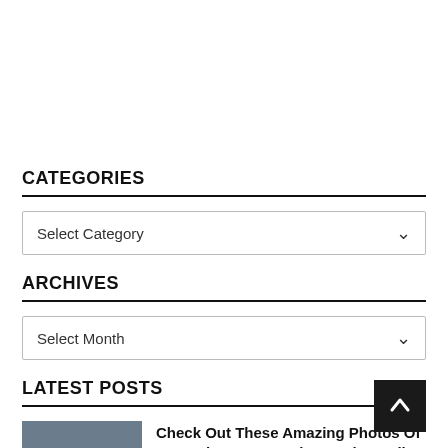CATEGORIES
Select Category
ARCHIVES
Select Month
LATEST POSTS
[Figure (photo): Thumbnail photo of an F-35C aircraft]
Check Out These Amazing Photos Of Second F-35C Sporting A Mirror-Like